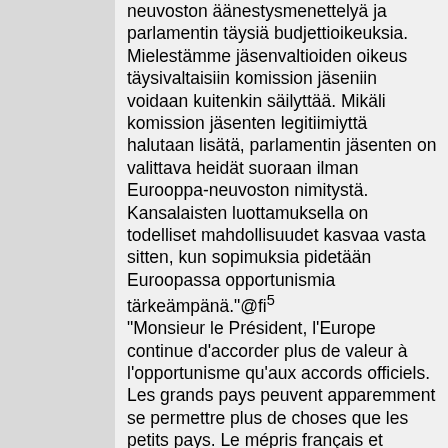neuvoston äänestysmenettelyä ja parlamentin täysiä budjettioikeuksia. Mielestämme jäsenvaltioiden oikeus täysivaltaisiin komission jäseniin voidaan kuitenkin säilyttää. Mikäli komission jäsenten legitiimiyttä halutaan lisätä, parlamentin jäsenten on valittava heidät suoraan ilman Eurooppa-neuvoston nimitystä. Kansalaisten luottamuksella on todelliset mahdollisuudet kasvaa vasta sitten, kun sopimuksia pidetään Euroopassa opportunismia tärkeämpänä."@fi⁵
"Monsieur le Président, l'Europe continue d'accorder plus de valeur à l'opportunisme qu'aux accords officiels. Les grands pays peuvent apparemment se permettre plus de choses que les petits pays. Le mépris français et allemand des règles du Pacte de stabilité a sérieusement mis en péril la